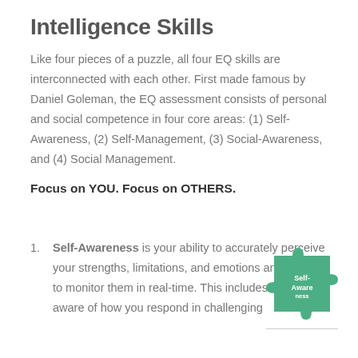Intelligence Skills
Like four pieces of a puzzle, all four EQ skills are interconnected with each other. First made famous by Daniel Goleman, the EQ assessment consists of personal and social competence in four core areas: (1) Self-Awareness, (2) Self-Management, (3) Social-Awareness, and (4) Social Management.
Focus on YOU. Focus on OTHERS.
Self-Awareness is your ability to accurately perceive your strengths, limitations, and emotions and be able to monitor them in real-time. This includes staying aware of how you respond in challenging
[Figure (illustration): A green puzzle piece with 'Self-Awareness' text written on it, with a small horizontal dividing line below it.]